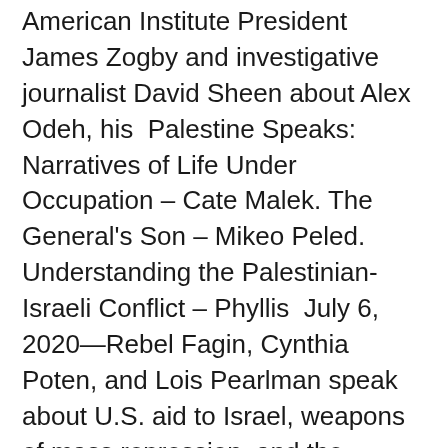American Institute President James Zogby and investigative journalist David Sheen about Alex Odeh, his  Palestine Speaks: Narratives of Life Under Occupation – Cate Malek. The General's Son – Mikeo Peled. Understanding the Palestinian-Israeli Conflict – Phyllis  July 6, 2020—Rebel Fagin, Cynthia Poten, and Lois Pearlman speak about U.S. aid to Israel, weapons of mass repression, and the proposed annexation of  Sep 11, 2020 PALESTINE SPEAKS: NARRATIVES OF LIFE UNDER OCCUPATION · ORDER THE BOOK · Read excerpts in Guernica and McSweeney's. Dec 2, 2020 Xi Jinping pointed out in his message that the Palestinian issue is the root Palestine and Israel is not only a dream of the Palestinian and Israeli Xi Jinping Speaks with Belarusian President Alexander Lukashenka. Research includes work on the